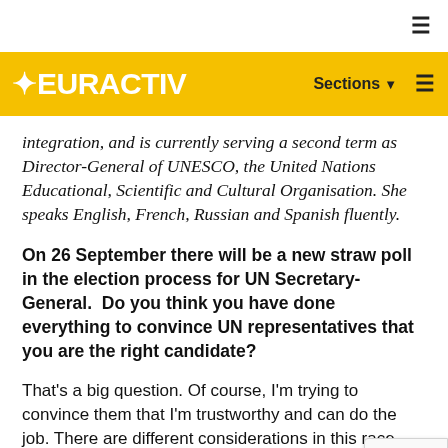EURACTIV — Sections
integration, and is currently serving a second term as Director-General of UNESCO, the United Nations Educational, Scientific and Cultural Organisation. She speaks English, French, Russian and Spanish fluently.
On 26 September there will be a new straw poll in the election process for UN Secretary-General. Do you think you have done everything to convince UN representatives that you are the right candidate?
That's a big question. Of course, I'm trying to convince them that I'm trustworthy and can do the job. There are different considerations in this race, but the most rewarding thing is that I am one of the most competitive candidates. I have constant support from the Security